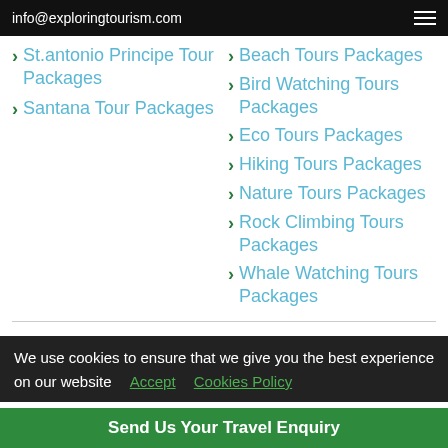info@exploringtourism.com
St.antonio Principe Tour Packages
Santana Tour Packages
Beach Tours Packages
Bird Watching Tours Packages
Eco Tours Packages
Hiking Tours Packages
Nature Tours Packages
Rock Climbing Tours Packages
Whale Watching Tours Packages
SAO TOME AND PRINCIPE TOUR OPERATOR
We use cookies to ensure that we give you the best experience on our website  Accept  Cookies Policy
Send Us Your Travel Enquiry